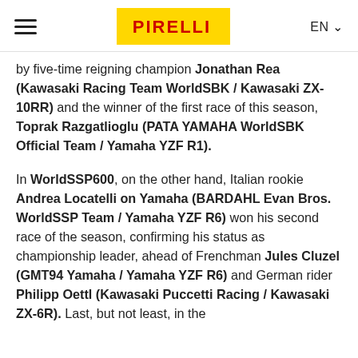[hamburger menu] PIRELLI [logo] EN
by five-time reigning champion Jonathan Rea (Kawasaki Racing Team WorldSBK / Kawasaki ZX-10RR) and the winner of the first race of this season, Toprak Razgatlioglu (PATA YAMAHA WorldSBK Official Team / Yamaha YZF R1).
In WorldSSP600, on the other hand, Italian rookie Andrea Locatelli on Yamaha (BARDAHL Evan Bros. WorldSSP Team / Yamaha YZF R6) won his second race of the season, confirming his status as championship leader, ahead of Frenchman Jules Cluzel (GMT94 Yamaha / Yamaha YZF R6) and German rider Philipp Oettl (Kawasaki Puccetti Racing / Kawasaki ZX-6R). Last, but not least, in the